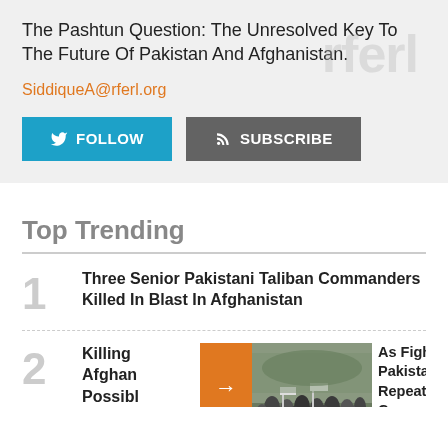The Pashtun Question: The Unresolved Key To The Future Of Pakistan And Afghanistan.
SiddiqueA@rferl.org
[Figure (other): Follow and Subscribe buttons with Twitter and RSS icons]
Top Trending
1 Three Senior Pakistani Taliban Commanders Killed In Blast In Afghanistan
2 Killings Afghan Possible As Fighters Return, Pakistanis Fear A Repeat Of Taliban Carnage